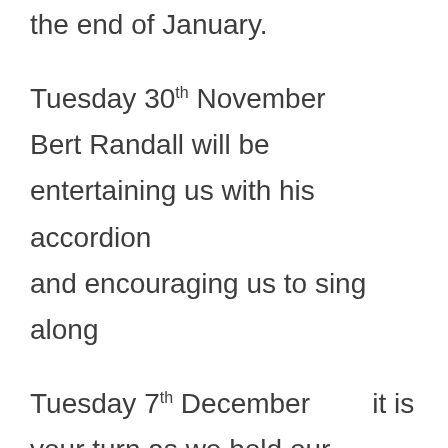the end of January.
Tuesday 30th November        Bert Randall will be entertaining us with his accordion                                          and encouraging us to sing along
Tuesday 7th December          it is your turn as we hold our traditional “Party Pieces”, compered by Colin Ferguson